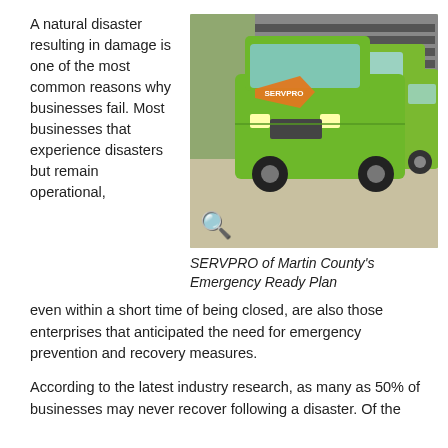A natural disaster resulting in damage is one of the most common reasons why businesses fail. Most businesses that experience disasters but remain operational, even within a short time of being closed, are also those enterprises that anticipated the need for emergency prevention and recovery measures.
[Figure (photo): Two green SERVPRO branded vans parked outside a building. Both vans display the SERVPRO orange logo and branding. A search/zoom icon appears in the lower left of the image.]
SERVPRO of Martin County's Emergency Ready Plan
According to the latest industry research, as many as 50% of businesses may never recover following a disaster. Of the